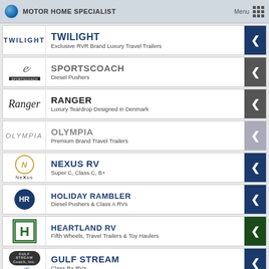MOTOR HOME SPECIALIST
TWILIGHT — Exclusive RVR Brand Luxury Travel Trailers
SPORTSCOACH — Diesel Pushers
RANGER — Luxury Teardrop Designed in Denmark
OLYMPIA — Premium Brand Travel Trailers
NEXUS RV — Super C, Class C, B+
HOLIDAY RAMBLER — Diesel Pushers & Class A RVs
HEARTLAND RV — Fifth Wheels, Travel Trailers & Toy Haulers
GULF STREAM — Class B+ RVs